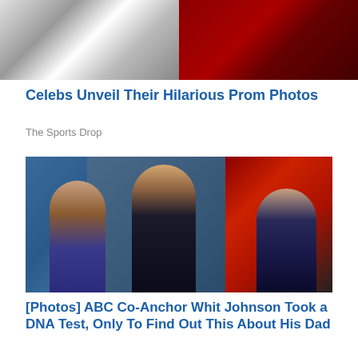[Figure (photo): Black and white photo of people at what appears to be a prom or formal event, split with a red carpet event photo on the right]
Celebs Unveil Their Hilarious Prom Photos
The Sports Drop
[Figure (photo): A man in a dark suit with blue tie posing with two young girls, one in a blue sparkly outfit and one in a striped sequined dress, in a TV studio setting]
[Photos] ABC Co-Anchor Whit Johnson Took a DNA Test, Only To Find Out This About His Dad